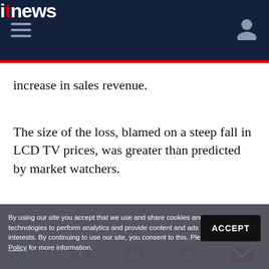itnews
increase in sales revenue.
The size of the loss, blamed on a steep fall in LCD TV prices, was greater than predicted by market watchers.
By using our site you accept that we use and share cookies and similar technologies to perform analytics and provide content and ads tailored to your interests. By continuing to use our site, you consent to this. Please see our Cookie Policy for more information.